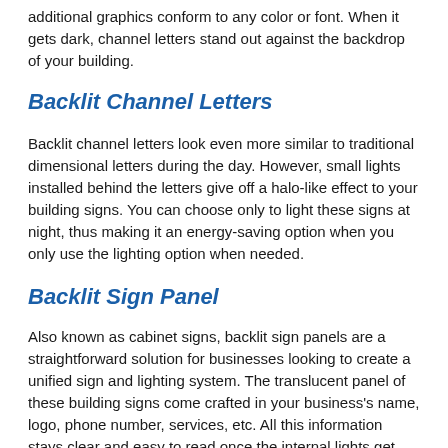additional graphics conform to any color or font. When it gets dark, channel letters stand out against the backdrop of your building.
Backlit Channel Letters
Backlit channel letters look even more similar to traditional dimensional letters during the day. However, small lights installed behind the letters give off a halo-like effect to your building signs. You can choose only to light these signs at night, thus making it an energy-saving option when you only use the lighting option when needed.
Backlit Sign Panel
Also known as cabinet signs, backlit sign panels are a straightforward solution for businesses looking to create a unified sign and lighting system. The translucent panel of these building signs come crafted in your business's name, logo, phone number, services, etc. All this information stays clear and easy to read once the internal lights get switched on.